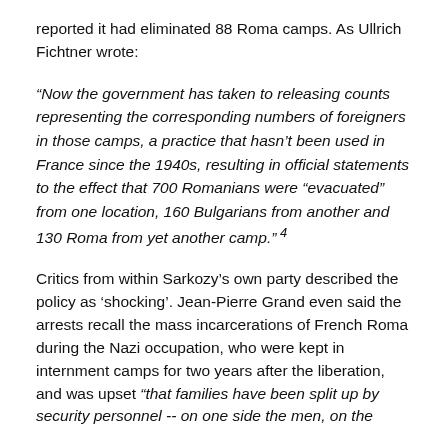reported it had eliminated 88 Roma camps. As Ullrich Fichtner wrote:
“Now the government has taken to releasing counts representing the corresponding numbers of foreigners in those camps, a practice that hasn’t been used in France since the 1940s, resulting in official statements to the effect that 700 Romanians were “evacuated” from one location, 160 Bulgarians from another and 130 Roma from yet another camp.” 4
Critics from within Sarkozy’s own party described the policy as ‘shocking’. Jean-Pierre Grand even said the arrests recall the mass incarcerations of French Roma during the Nazi occupation, who were kept in internment camps for two years after the liberation, and was upset “that families have been split up by security personnel -- on one side the men, on the